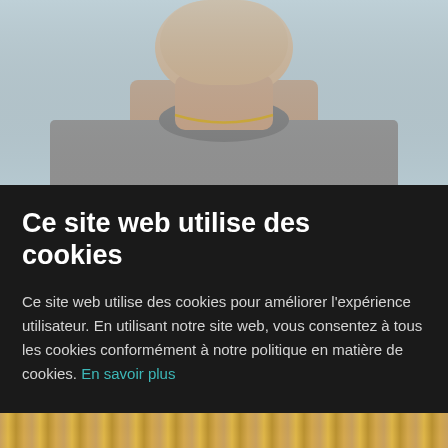[Figure (photo): Upper portion of a man's face and torso visible above a cookie consent banner. The man is wearing a grey crew-neck sweatshirt and a gold chain necklace, photographed against a light blue-grey background.]
Ce site web utilise des cookies
Ce site web utilise des cookies pour améliorer l'expérience utilisateur. En utilisant notre site web, vous consentez à tous les cookies conformément à notre politique en matière de cookies. En savoir plus
OK
[Figure (photo): Bottom strip showing blonde hair, partially visible at the very bottom of the page.]